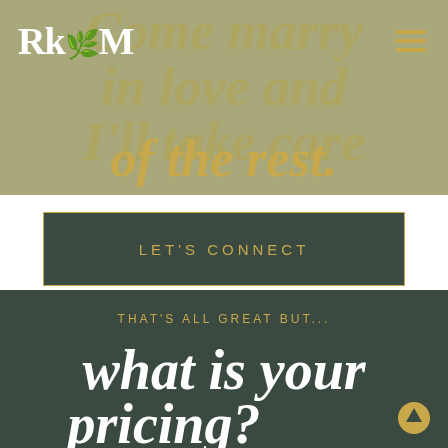[Figure (logo): RKM logo in white serif letters on olive/khaki background]
Come marry in love and I'll take care of the rest.
LET'S CONNECT
THAT'S ALL GREAT BUT...
what is your pricing?